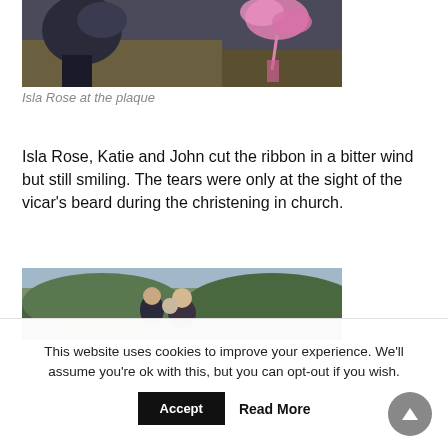[Figure (photo): A person crouching at a plaque on the ground with pink ribbons nearby]
Isla Rose at the plaque
Isla Rose, Katie and John cut the ribbon in a bitter wind but still smiling. The tears were only at the sight of the vicar's beard during the christening in church.
[Figure (photo): A couple smiling outdoors with a baby, green hills and water in the background]
This website uses cookies to improve your experience. We'll assume you're ok with this, but you can opt-out if you wish.